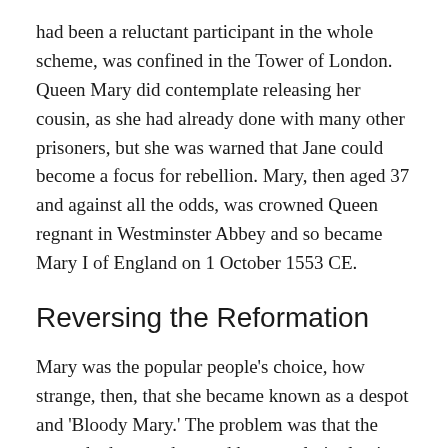had been a reluctant participant in the whole scheme, was confined in the Tower of London. Queen Mary did contemplate releasing her cousin, as she had already done with many other prisoners, but she was warned that Jane could become a focus for rebellion. Mary, then aged 37 and against all the odds, was crowned Queen regnant in Westminster Abbey and so became Mary I of England on 1 October 1553 CE.
Reversing the Reformation
Mary was the popular people's choice, how strange, then, that she became known as a despot and 'Bloody Mary.' The problem was that the queen had not understood her popularity lay in her legitimacy to rule as the daughter and sister of